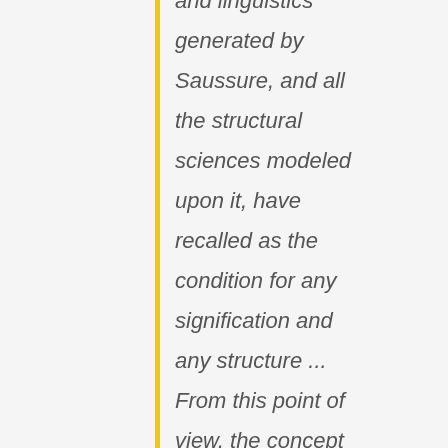and linguistics generated by Saussure, and all the structural sciences modeled upon it, have recalled as the condition for any signification and any structure ... From this point of view, the concept of différance is